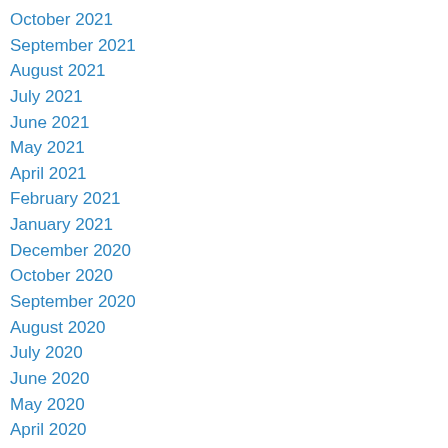October 2021
September 2021
August 2021
July 2021
June 2021
May 2021
April 2021
February 2021
January 2021
December 2020
October 2020
September 2020
August 2020
July 2020
June 2020
May 2020
April 2020
March 2020
February 2020
January 2020
December 2019